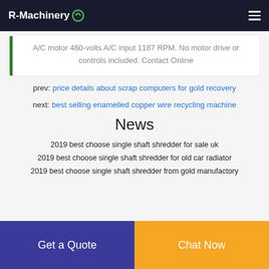R-Machinery
A/C motor 460-volts A/C input 1187 RPM. No motor drive or controls included. Contact Online
prev: price details about scrap computers for gold recovery
next: best selling enamelled copper wire recycling machine
News
2019 best choose single shaft shredder for sale uk
2019 best choose single shaft shredder for old car radiator
2019 best choose single shaft shredder from gold manufactory